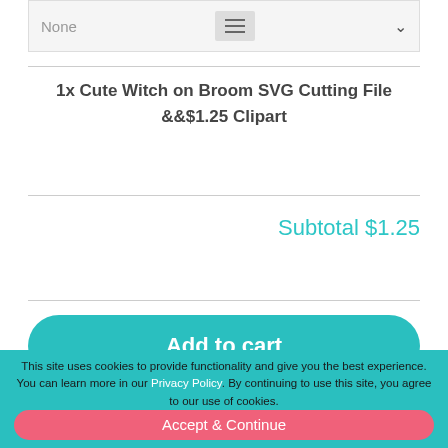None
1x Cute Witch on Broom SVG Cutting File &&$1.25 Clipart
Subtotal $1.25
Add to cart
This site uses cookies to provide functionality and give you the best experience. You can learn more in our Privacy Policy. By continuing to use this site, you agree to our use of cookies.
Accept & Continue